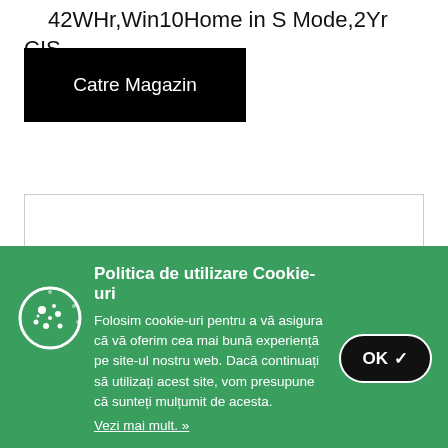42WHr,Win10Home in S Mode,2Yr CIS
[Figure (other): Black button labeled 'Catre Magazin']
[Figure (other): White bordered content box (empty)]
Politica de utilizare Cookie-uri
Folosim cookie-uri pentru a vă asigura că vă oferim cea mai bună experiență pe site-ul nostru web. Dacă continuați să utilizați acest site, vom presupune că sunteți mulțumit de acesta.
Vezi mai mult. »